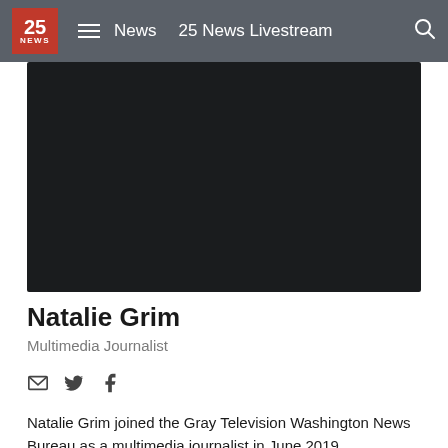25 NEWS  News  25 News Livestream
[Figure (screenshot): Dark/black video player area]
Natalie Grim
Multimedia Journalist
Social icons: email, Twitter, Facebook
Natalie Grim joined the Gray Television Washington News Bureau as a multimedia journalist in June 2019.